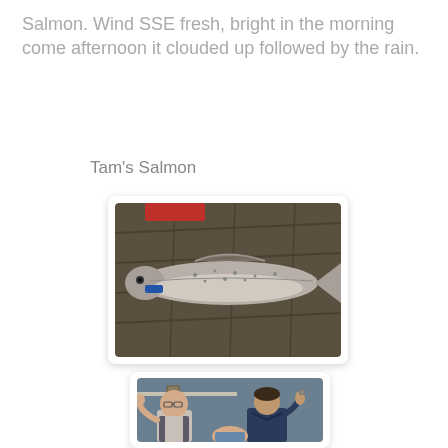Salmon. Wind SSE fresh, bright in the morning come afternoon it clouded up followed by the rain.
Tam's Salmon
[Figure (photo): A whole salmon fish laid flat on a wet surface inside what appears to be a boat or container, photographed from above.]
[Figure (photo): Two men smiling and posing indoors, one holding up a small object, with a blue-grey wall and shelving in the background.]